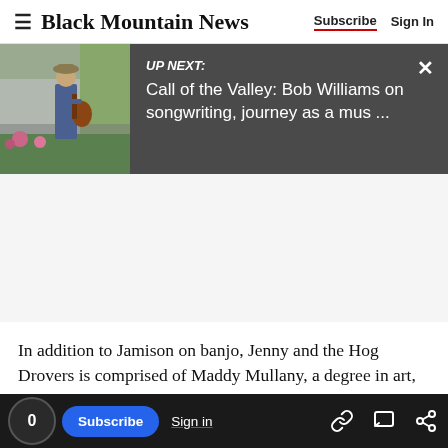Black Mountain News — Subscribe | Sign In
[Figure (screenshot): UP NEXT banner with thumbnail image of man with guitar outdoors, text: 'UP NEXT: Call of the Valley: Bob Williams on songwriting, journey as a mus ...']
In addition to Jamison on banjo, Jenny and the Hog Drovers is comprised of Maddy Mullany, a degree in art, on fiddle; Clarke Williams, a global
0  Subscribe  Sign in  [share icons]